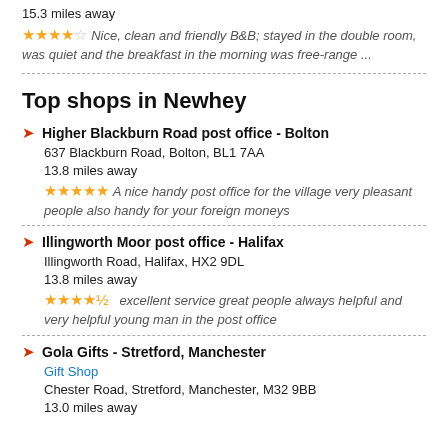15.3 miles away
★★★★☆ Nice, clean and friendly B&B; stayed in the double room, was quiet and the breakfast in the morning was free-range ...
Top shops in Newhey
Higher Blackburn Road post office - Bolton
637 Blackburn Road, Bolton, BL1 7AA
13.8 miles away
★★★★★ A nice handy post office for the village very pleasant people also handy for your foreign moneys
Illingworth Moor post office - Halifax
Illingworth Road, Halifax, HX2 9DL
13.8 miles away
★★★★½ excellent service great people always helpful and very helpful young man in the post office
Gola Gifts - Stretford, Manchester
Gift Shop
Chester Road, Stretford, Manchester, M32 9BB
13.0 miles away